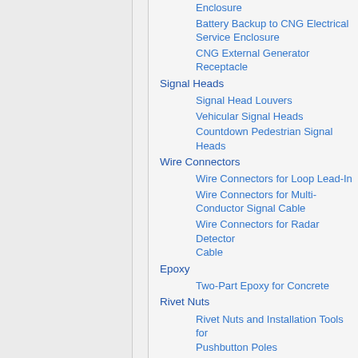Enclosure
Battery Backup to CNG Electrical Service Enclosure
CNG External Generator Receptacle
Signal Heads
Signal Head Louvers
Vehicular Signal Heads
Countdown Pedestrian Signal Heads
Wire Connectors
Wire Connectors for Loop Lead-In
Wire Connectors for Multi-Conductor Signal Cable
Wire Connectors for Radar Detector Cable
Epoxy
Two-Part Epoxy for Concrete
Rivet Nuts
Rivet Nuts and Installation Tools for Pushbutton Poles